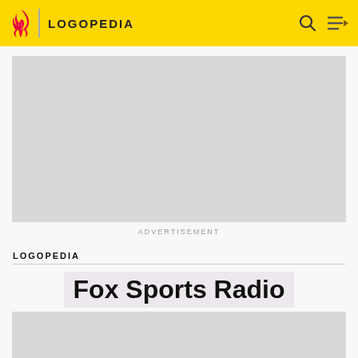LOGOPEDIA
[Figure (other): Advertisement placeholder — grey rectangle]
ADVERTISEMENT
LOGOPEDIA
Fox Sports Radio
[Figure (other): Logo image placeholder — grey rectangle]